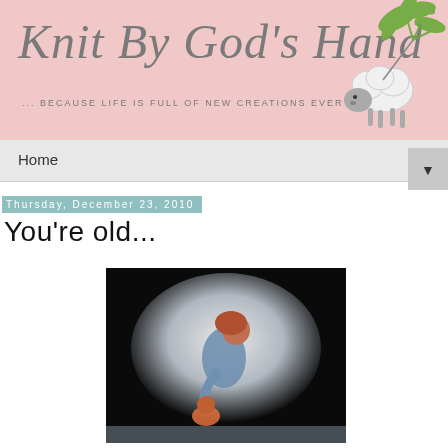Knit By God's Hand — ... BECAUSE LIFE IS FULL OF NEW CREATIONS EVERY DAY
Home
Thursday, December 23, 2010
You're old...
[Figure (photo): A woman with red hair bending over a small child at the beach, with dark vignette border around the photo.]